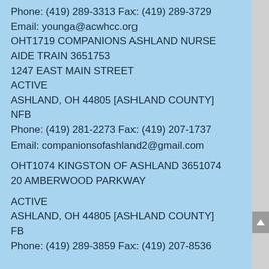Phone: (419) 289-3313 Fax: (419) 289-3729
Email: younga@acwhcc.org
OHT1719 COMPANIONS ASHLAND NURSE AIDE TRAIN 3651753
1247 EAST MAIN STREET
ACTIVE
ASHLAND, OH 44805 [ASHLAND COUNTY]
NFB
Phone: (419) 281-2273 Fax: (419) 207-1737
Email: companionsofashland2@gmail.com
OHT1074 KINGSTON OF ASHLAND 3651074
20 AMBERWOOD PARKWAY
ACTIVE
ASHLAND, OH 44805 [ASHLAND COUNTY]
FB
Phone: (419) 289-3859 Fax: (419) 207-8536